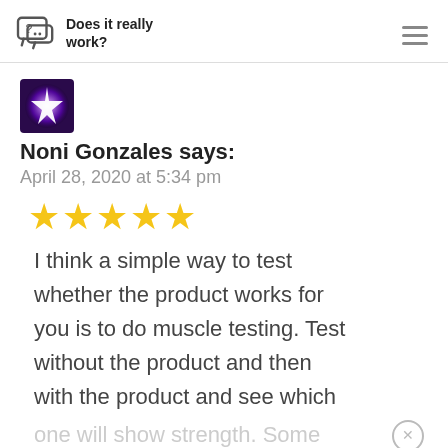Does it really work?
[Figure (illustration): Purple sparkle avatar image for user Noni Gonzales]
Noni Gonzales says:
April 28, 2020 at 5:34 pm
[Figure (other): Five gold star rating]
I think a simple way to test whether the product works for you is to do muscle testing. Test without the product and then with the product and see which one will show strength. Some